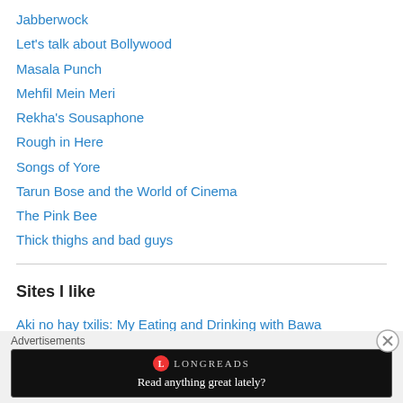Jabberwock
Let's talk about Bollywood
Masala Punch
Mehfil Mein Meri
Rekha's Sousaphone
Rough in Here
Songs of Yore
Tarun Bose and the World of Cinema
The Pink Bee
Thick thighs and bad guys
Sites I like
Aki no hay txilis: My Eating and Drinking with Bawa
Hollywood Memorabilia
Advertisements
[Figure (other): Longreads advertisement banner with logo and tagline 'Read anything great lately?']